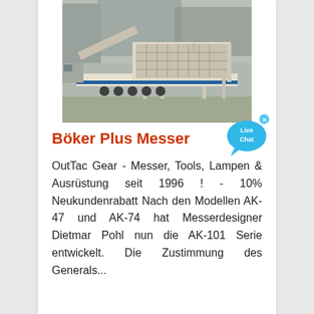[Figure (photo): Large mobile industrial screening/crushing machine mounted on a truck trailer, photographed outdoors in an industrial yard. The machine is white/cream colored with a blue stripe on the trailer frame, with conveyor belts and screening components visible.]
Böker Plus Messer
OutTac Gear - Messer, Tools, Lampen & Ausrüstung seit 1996 ! - 10% Neukundenrabatt Nach den Modellen AK-47 und AK-74 hat Messerdesigner Dietmar Pohl nun die AK-101 Serie entwickelt. Die Zustimmung des Generals...